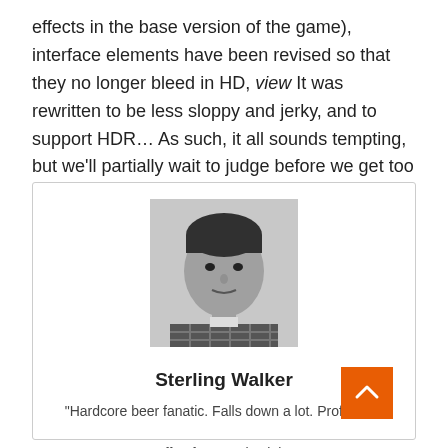effects in the base version of the game), interface elements have been revised so that they no longer bleed in HD, view It was rewritten to be less sloppy and jerky, and to support HDR… As such, it all sounds tempting, but we'll partially wait to judge before we get too carried away.
[Figure (photo): Black and white portrait photo of a young man with dark hair lying down, wearing a plaid shirt, looking at camera]
Sterling Walker
"Hardcore beer fanatic. Falls down a lot. Professional coffee fan. Music ninja."